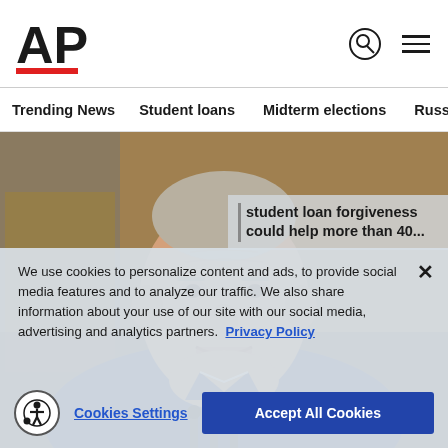[Figure (logo): AP (Associated Press) logo in black bold text with red underline bar]
Trending News   Student loans   Midterm elections   Russia-Ukr
[Figure (photo): Photo of President Biden speaking at a podium with microphones, in front of a painting, wearing a suit]
We use cookies to personalize content and ads, to provide social media features and to analyze our traffic. We also share information about your use of our site with our social media, advertising and analytics partners. Privacy Policy
Cookies Settings   Accept All Cookies